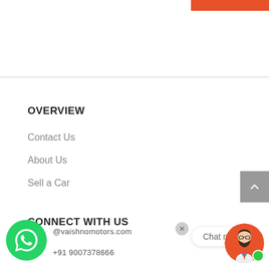[Figure (other): Orange navigation bar at top right]
OVERVIEW
Contact Us
About Us
Sell a Car
CONNECT WITH US
@vaishnomotors.com
+91 9007378666
Chat now